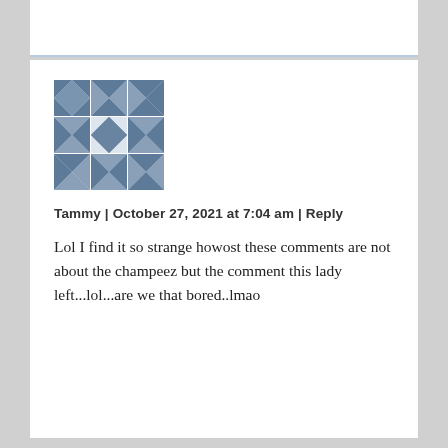[Figure (illustration): Default avatar icon — a blue-grey geometric mosaic/pattern tile used as a placeholder user avatar]
Tammy | October 27, 2021 at 7:04 am | Reply
Lol I find it so strange howost these comments are not about the champeez but the comment this lady left...lol...are we that bored..lmao